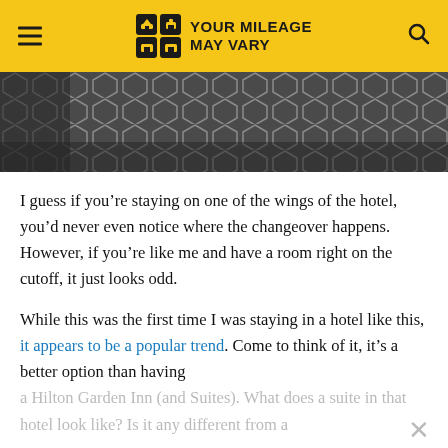YOUR MILEAGE MAY VARY
[Figure (photo): Close-up photo of a dark gray honeycomb/hexagonal patterned carpet or textile, partially visible from upper portion of image]
I guess if you're staying on one of the wings of the hotel, you'd never even notice where the changeover happens. However, if you're like me and have a room right on the cutoff, it just looks odd.
While this was the first time I was staying in a hotel like this, it appears to be a popular trend. Come to think of it, it's a better option than having a Hilton Garden Inn (and Suites). What does a suite in that hotel look like? Is it any different from a